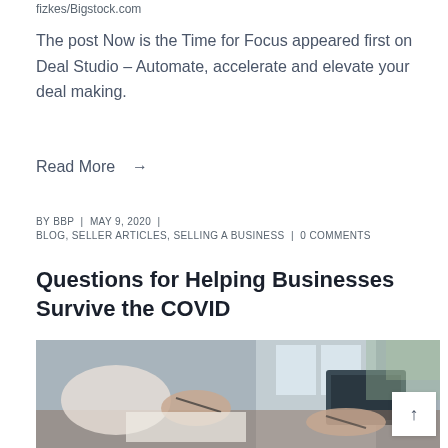fizkes/Bigstock.com
The post Now is the Time for Focus appeared first on Deal Studio – Automate, accelerate and elevate your deal making.
Read More →
BY BBP | MAY 9, 2020 | BLOG, SELLER ARTICLES, SELLING A BUSINESS | 0 COMMENTS
Questions for Helping Businesses Survive the COVID
[Figure (photo): Two business people at a table signing or reviewing documents, with a laptop visible in the background near a window.]